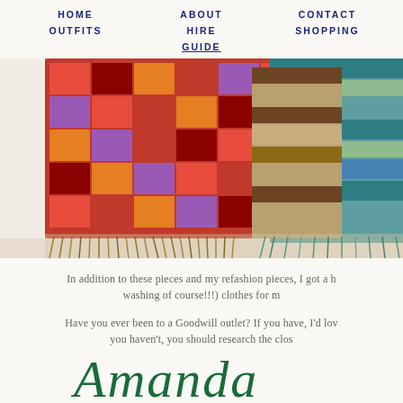HOME   ABOUT   CONTACT
OUTFITS   HIRE   SHOPPING
GUIDE
[Figure (photo): Close-up photo of colorful woven scarves laid flat. On the left is a red, orange, magenta, and burgundy checkered/plaid scarf with fringe. On the right are striped scarves in teal, khaki/brown, and dark brown stripes, also with fringe. The scarves are arranged overlapping on a light surface.]
In addition to these pieces and my refashion pieces, I got a h washing of course!!!) clothes for m
Have you ever been to a Goodwill outlet? If you have, I'd lov you haven't, you should research the clos
Amanda